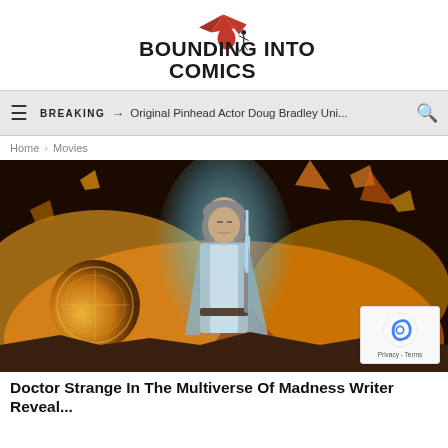[Figure (logo): Bounding Into Comics logo with red dragon and running figure silhouette]
BREAKING → Original Pinhead Actor Doug Bradley Uni...
Home > Movies
[Figure (photo): A Jedi figure (Luke Skywalker) standing with a lightsaber amid fire and explosions, glowing with blue aura]
Doctor Strange In The Multiverse Of Madness Writer Reveal...